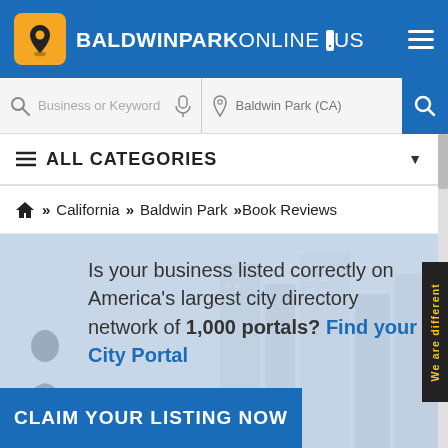BALDWINPARKONLINE .US
Business or Keyword | Baldwin Park (CA)
≡ ALL CATEGORIES
🏠 » California » Baldwin Park »Book Reviews
Is your business listed correctly on America's largest city directory network of 1,000 portals? Find your City Portal
CLAIM YOUR LISTING NOW